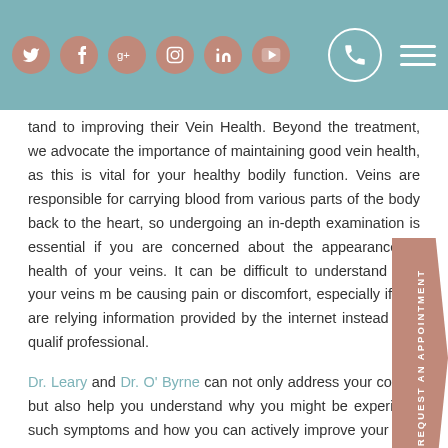Social media icons (Twitter, Facebook, Google+, Instagram, LinkedIn, YouTube), phone icon, hamburger menu
tand to improving their Vein Health. Beyond the treatment, we advocate the importance of maintaining good vein health, as this is vital for your healthy bodily function. Veins are responsible for carrying blood from various parts of the body back to the heart, so undergoing an in-depth examination is essential if you are concerned about the appearance or health of your veins. It can be difficult to understand why your veins may be causing pain or discomfort, especially if you are relying on information provided by the internet instead of a qualified professional.
Dr. Leary and Dr. O' Byrne can not only address your concerns but also help you understand why you might be experiencing such symptoms and how you can actively improve your vein condition. We encourage you to undergo a vein exam with us so that we can address your concerns and help you feel more